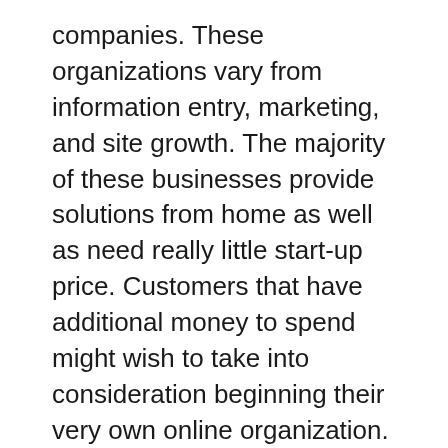companies. These organizations vary from information entry, marketing, and site growth. The majority of these businesses provide solutions from home as well as need really little start-up price. Customers that have additional money to spend might wish to take into consideration beginning their very own online organization.
While there are several online rip-offs, there are additionally a variety of genuine chances available. It can be difficult to tell a scam from a legit company chance, there are a couple of essential indications you can look for to establish if you are working with a scam or legit chance. Legitimate companies normally provide a cost-free trial to their service or products and ensure customer